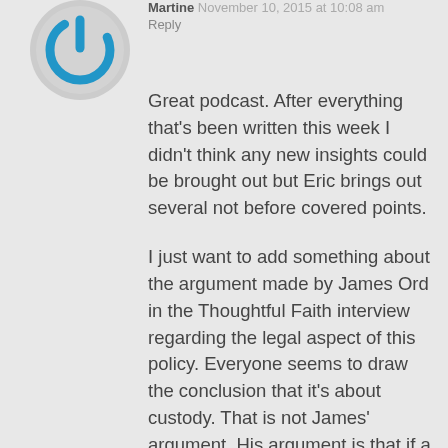[Figure (logo): Blue circular power button icon — avatar for commenter named Martine]
Martine November 10, 2015 at 10:08 am
Reply
Great podcast. After everything that's been written this week I didn't think any new insights could be brought out but Eric brings out several not before covered points.

I just want to add something about the argument made by James Ord in the Thoughtful Faith interview regarding the legal aspect of this policy. Everyone seems to draw the conclusion that it's about custody. That is not James' argument. His argument is that if a child is baptized and exposed to teachings that disparage their gay parent, something that has been proven to